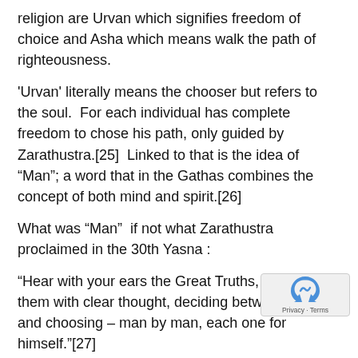religion are Urvan which signifies freedom of choice and Asha which means walk the path of righteousness.
'Urvan' literally means the chooser but refers to the soul.  For each individual has complete freedom to chose his path, only guided by Zarathustra.[25]  Linked to that is the idea of “Man”; a word that in the Gathas combines the concept of both mind and spirit.[26]
What was “Man”  if not what Zarathustra proclaimed in the 30th Yasna :
“Hear with your ears the Great Truths, consider them with clear thought, deciding between the two and choosing – man by man, each one for himself.”[27]
Yet today our community is being haunted by